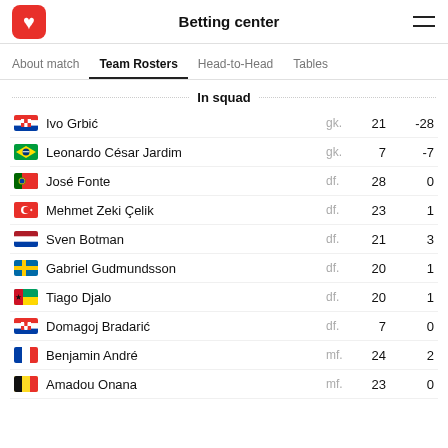Betting center
About match | Team Rosters | Head-to-Head | Tables
In squad
| Flag | Player | Pos. | Num. | Score |
| --- | --- | --- | --- | --- |
| Croatia | Ivo Grbić | gk. | 21 | -28 |
| Brazil | Leonardo César Jardim | gk. | 7 | -7 |
| Portugal | José Fonte | df. | 28 | 0 |
| Turkey | Mehmet Zeki Çelik | df. | 23 | 1 |
| Netherlands | Sven Botman | df. | 21 | 3 |
| Sweden | Gabriel Gudmundsson | df. | 20 | 1 |
| Guinea-Bissau | Tiago Djalo | df. | 20 | 1 |
| Croatia | Domagoj Bradarić | df. | 7 | 0 |
| France | Benjamin André | mf. | 24 | 2 |
| Belgium | Amadou Onana | mf. | 23 | 0 |